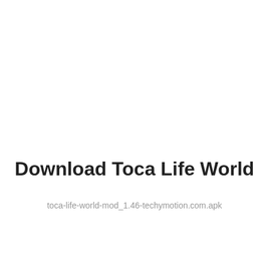Download Toca Life World
toca-life-world-mod_1.46-techymotion.com.apk